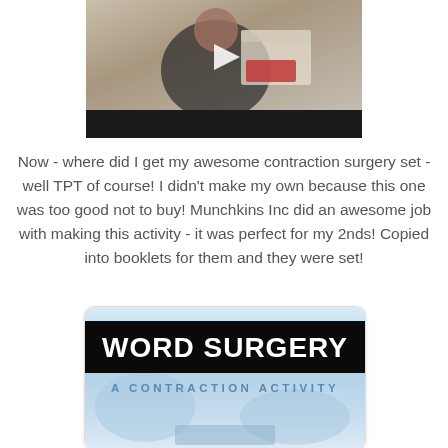[Figure (screenshot): Video thumbnail showing a person holding a box, with a play button overlay and a dark controls bar at the bottom.]
Now - where did I get my awesome contraction surgery set - well TPT of course!  I didn't make my own because this one was too good not to buy!  Munchkins Inc did an awesome job with making this activity - it was perfect for my 2nds!  Copied into booklets for them and they were set!
[Figure (photo): Cover image of a product called 'WORD SURGERY - A CONTRACTION ACTIVITY' with a black title bar and blue/white background with surgical tools.]